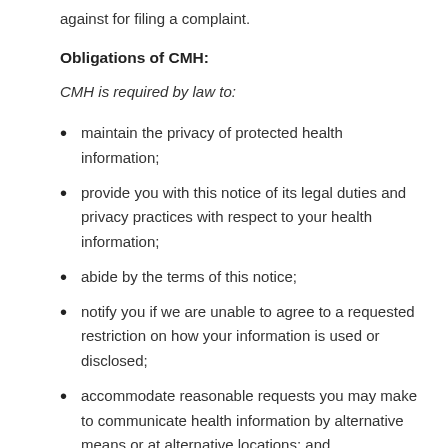against for filing a complaint.
Obligations of CMH:
CMH is required by law to:
maintain the privacy of protected health information;
provide you with this notice of its legal duties and privacy practices with respect to your health information;
abide by the terms of this notice;
notify you if we are unable to agree to a requested restriction on how your information is used or disclosed;
accommodate reasonable requests you may make to communicate health information by alternative means or at alternative locations; and